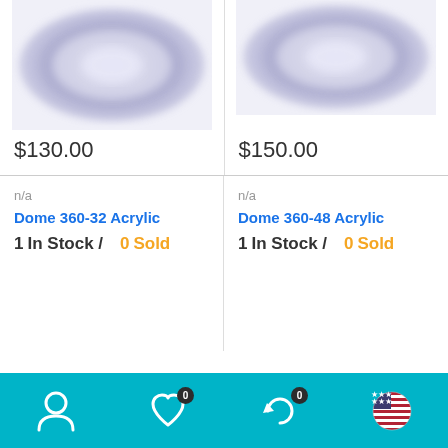[Figure (photo): Blurred product image of Dome 360-32 Acrylic, top-left]
$130.00
[Figure (photo): Blurred product image of Dome 360-48 Acrylic, top-right]
$150.00
n/a
Dome 360-32 Acrylic
1 In Stock / 0 Sold
n/a
Dome 360-48 Acrylic
1 In Stock / 0 Sold
[Figure (screenshot): Bottom navigation bar with user icon, heart icon with badge 0, refresh/cart icon with badge 0, and US flag icon]